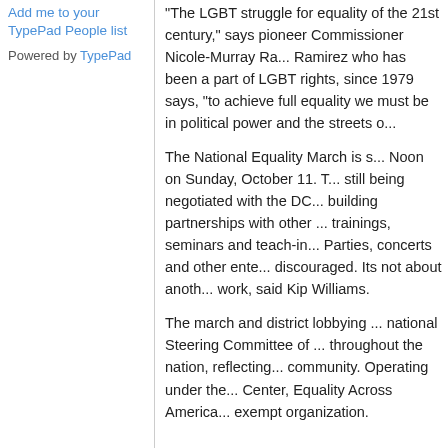Add me to your TypePad People list
Powered by TypePad
"The LGBT struggle for equality of the 21st century," says pioneer Commissioner Nicole-Murray Ramirez who has been a part of LGBT rights, since 1979 says, "to achieve full equality we must be in political power and the streets o...
The National Equality March is s... Noon on Sunday, October 11. T... still being negotiated with the DC... building partnerships with other ... trainings, seminars and teach-in... Parties, concerts and other ente... discouraged. Its not about anot... work, said Kip Williams.
The march and district lobbying ... national Steering Committee of ... throughout the nation, reflecting... community. Operating under the... Center, Equality Across America... exempt organization.